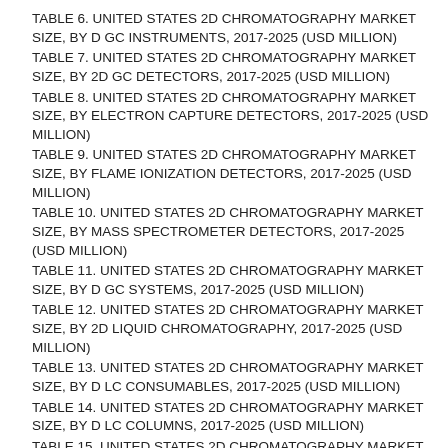TABLE 6. UNITED STATES 2D CHROMATOGRAPHY MARKET SIZE, BY D GC INSTRUMENTS, 2017-2025 (USD MILLION)
TABLE 7. UNITED STATES 2D CHROMATOGRAPHY MARKET SIZE, BY 2D GC DETECTORS, 2017-2025 (USD MILLION)
TABLE 8. UNITED STATES 2D CHROMATOGRAPHY MARKET SIZE, BY ELECTRON CAPTURE DETECTORS, 2017-2025 (USD MILLION)
TABLE 9. UNITED STATES 2D CHROMATOGRAPHY MARKET SIZE, BY FLAME IONIZATION DETECTORS, 2017-2025 (USD MILLION)
TABLE 10. UNITED STATES 2D CHROMATOGRAPHY MARKET SIZE, BY MASS SPECTROMETER DETECTORS, 2017-2025 (USD MILLION)
TABLE 11. UNITED STATES 2D CHROMATOGRAPHY MARKET SIZE, BY D GC SYSTEMS, 2017-2025 (USD MILLION)
TABLE 12. UNITED STATES 2D CHROMATOGRAPHY MARKET SIZE, BY 2D LIQUID CHROMATOGRAPHY, 2017-2025 (USD MILLION)
TABLE 13. UNITED STATES 2D CHROMATOGRAPHY MARKET SIZE, BY D LC CONSUMABLES, 2017-2025 (USD MILLION)
TABLE 14. UNITED STATES 2D CHROMATOGRAPHY MARKET SIZE, BY D LC COLUMNS, 2017-2025 (USD MILLION)
TABLE 15. UNITED STATES 2D CHROMATOGRAPHY MARKET